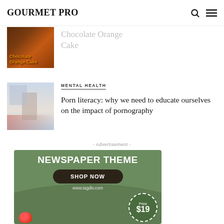GOURMET PRO
[Figure (photo): Partially visible article card with chocolate orange cake image and partially visible title text 'Chocolate Orange Cake']
MENTAL HEALTH
[Figure (photo): Two people in a modern room, one pointing at a display or wall]
Porn literacy: why we need to educate ourselves on the impact of pornography
- Advertisement -
[Figure (infographic): NEWSPAPER THEME advertisement banner with SHOP NOW button, www.tagdiv.com, Price $19 circle, and food imagery on green background]